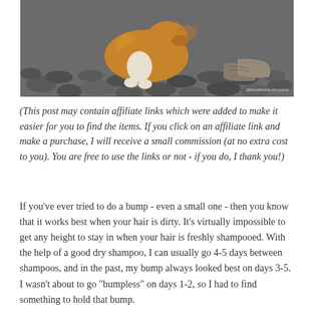[Figure (photo): A photo of a long-haired dog (possibly a collie or sheltie) standing on rocks/pebbles, with a person's feet visible in the background. A watermark reads '@mrpthenie.blogspot' in the lower right corner.]
(This post may contain affiliate links which were added to make it easier for you to find the items. If you click on an affiliate link and make a purchase, I will receive a small commission (at no extra cost to you). You are free to use the links or not - if you do, I thank you!)
If you've ever tried to do a bump - even a small one - then you know that it works best when your hair is dirty. It's virtually impossible to get any height to stay in when your hair is freshly shampooed. With the help of a good dry shampoo, I can usually go 4-5 days between shampoos, and in the past, my bump always looked best on days 3-5. I wasn't about to go "bumpless" on days 1-2, so I had to find something to hold that bump.